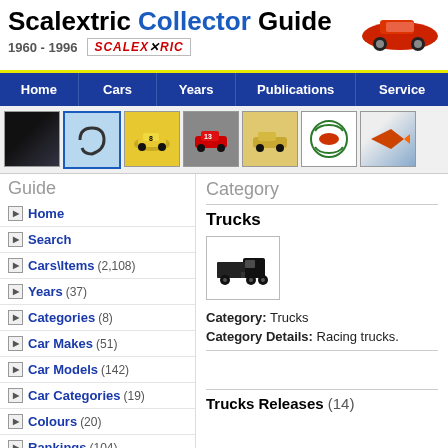Scalextric Collector Guide 1960 - 1996
Home | Cars | Years | Publications | Service
[Figure (screenshot): Row of 7 thumbnail images showing Scalextric cars, tracks, and badges]
Guide
Home
Search
Cars\Items (2,108)
Years (37)
Categories (8)
Car Makes (51)
Car Models (142)
Car Categories (19)
Colours (20)
Rankings (104)
Category
Trucks
[Figure (illustration): Black silhouette icon of a truck/lorry]
Category: Trucks
Category Details: Racing trucks.
Trucks Releases (14)